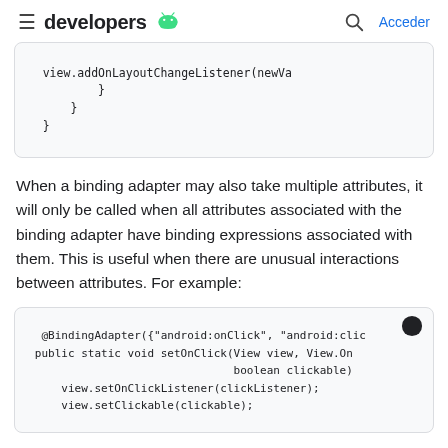developers [android logo] | Acceder
view.addOnLayoutChangeListener(newVa
            }
        }
    }
When a binding adapter may also take multiple attributes, it will only be called when all attributes associated with the binding adapter have binding expressions associated with them. This is useful when there are unusual interactions between attributes. For example:
@BindingAdapter({"android:onClick", "android:clic
   public static void setOnClick(View view, View.On
                                 boolean clickable)
       view.setOnClickListener(clickListener);
       view.setClickable(clickable);